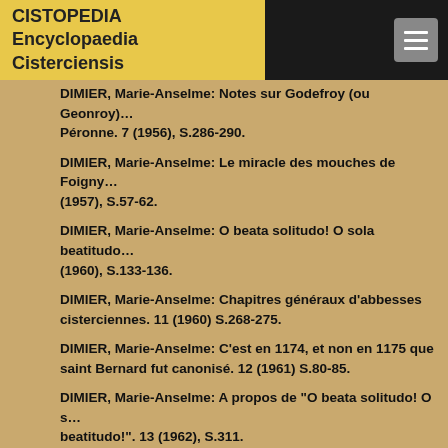CISTOPEDIA Encyclopaedia Cisterciensis
DIMIER, Marie-Anselme: Notes sur Godefroy (ou Geonroy)... Péronne. 7 (1956), S.286-290.
DIMIER, Marie-Anselme: Le miracle des mouches de Foigny... (1957), S.57-62.
DIMIER, Marie-Anselme: O beata solitudo! O sola beatitudo... (1960), S.133-136.
DIMIER, Marie-Anselme: Chapitres généraux d'abbesses cisterciennes. 11 (1960) S.268-275.
DIMIER, Marie-Anselme: C'est en 1174, et non en 1175 que saint Bernard fut canonisé. 12 (1961) S.80-85.
DIMIER, Marie-Anselme: A propos de "O beata solitudo! O sola beatitudo!". 13 (1962), S.311.
DIMIER, Marie-Anselme: In memoriam Marcel Aubert. 14 (1963), S.55-56.
DIMIER, Marie-Anselme: Une abbaye cistercienne fondée à...